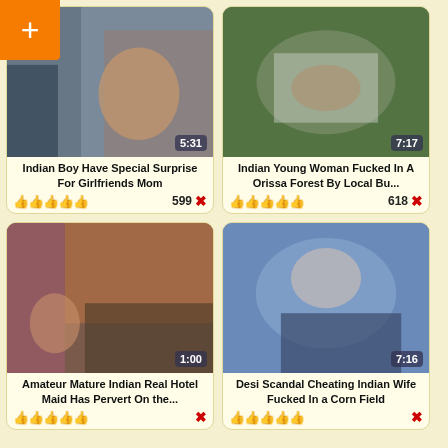[Figure (screenshot): Video thumbnail grid showing adult video website interface with 4 video cards, orange plus button overlay top-left]
Indian Boy Have Special Surprise For Girlfriends Mom
Indian Young Woman Fucked In A Orissa Forest By Local Bu...
Amateur Mature Indian Real Hotel Maid Has Pervert On the...
Desi Scandal Cheating Indian Wife Fucked In a Corn Field